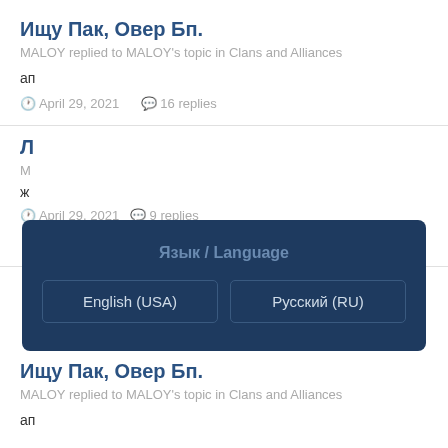Ищу Пак, Овер Бп.
MALOY replied to MALOY's topic in Clans and Alliances
ап
April 29, 2021   16 replies
Язык / Language
English (USA)
Русский (RU)
Л
M
ж
April 29, 2021   9 replies
Ищу Пак, Овер Бп.
MALOY replied to MALOY's topic in Clans and Alliances
ап